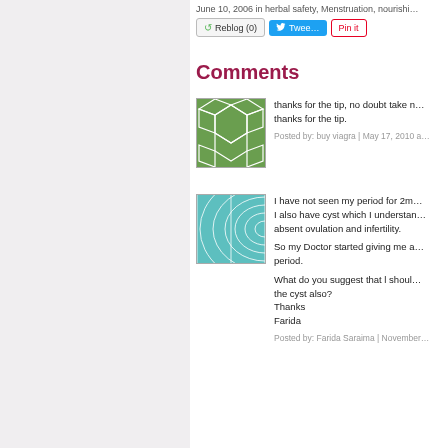June 10, 2006 in herbal safety, Menstruation, nourishi…
Reblog (0)  Tweet  Pin it
Comments
[Figure (illustration): Green avatar with white geometric polygon/cell pattern]
thanks for the tip, no doubt take note of that. thanks for the tip.
Posted by: buy viagra | May 17, 2010 a…
[Figure (illustration): Teal/cyan avatar with concentric grid/wave pattern]
I have not seen my period for 2m… I also have cyst which I understan… absent ovulation and infertility.

So my Doctor started giving me a… period.

What do you suggest that I shoul… the cyst also?
Thanks
Farida

Posted by: Farida Saraima | November…